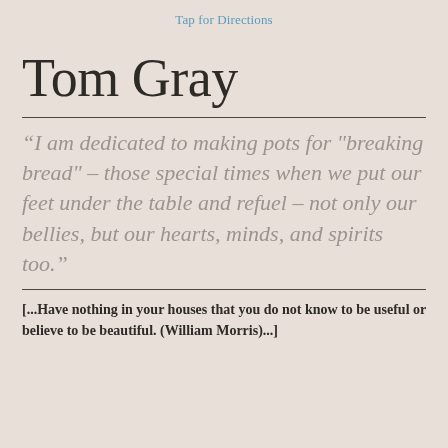Tap for Directions
Tom Gray
“I am dedicated to making pots for "breaking bread" – those special times when we put our feet under the table and refuel – not only our bellies, but our hearts, minds, and spirits too.”
[...Have nothing in your houses that you do not know to be useful or believe to be beautiful. (William Morris)...]